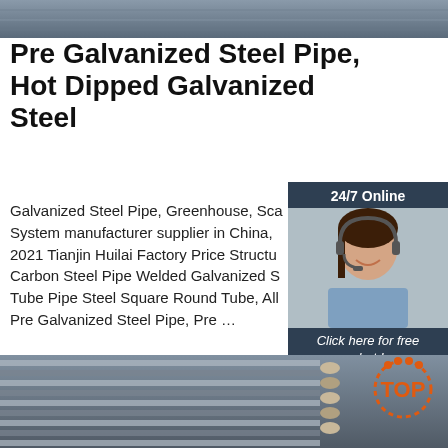[Figure (photo): Top banner image of galvanized steel pipes or industrial material]
Pre Galvanized Steel Pipe, Hot Dipped Galvanized Steel
Galvanized Steel Pipe, Greenhouse, Scaffolding System manufacturer supplier in China, 2021 Tianjin Huilai Factory Price Structural Carbon Steel Pipe Welded Galvanized Steel Tube Pipe Steel Square Round Tube, All Pre Galvanized Steel Pipe, Pre ...
[Figure (photo): Customer service representative with headset, 24/7 online chat widget with QUOTATION button]
[Figure (other): Get Price green button]
[Figure (photo): Bottom image of bundled steel rebar/reinforcement bars with TOP logo overlay]